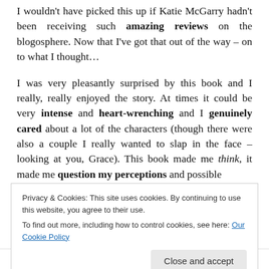I wouldn't have picked this up if Katie McGarry hadn't been receiving such amazing reviews on the blogosphere. Now that I've got that out of the way – on to what I thought…
I was very pleasantly surprised by this book and I really, really enjoyed the story. At times it could be very intense and heart-wrenching and I genuinely cared about a lot of the characters (though there were also a couple I really wanted to slap in the face – looking at you, Grace). This book made me think, it made me question my perceptions and possible
Privacy & Cookies: This site uses cookies. By continuing to use this website, you agree to their use. To find out more, including how to control cookies, see here: Our Cookie Policy
loved getting the chance to be inside both Echo and